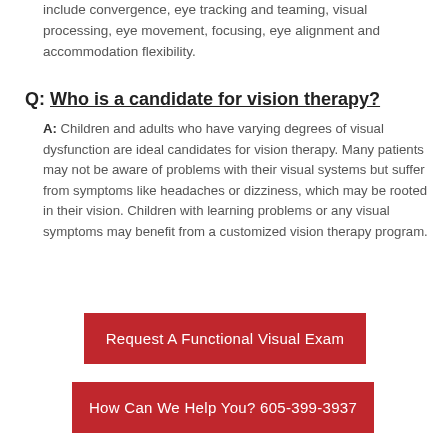include convergence, eye tracking and teaming, visual processing, eye movement, focusing, eye alignment and accommodation flexibility.
Q: Who is a candidate for vision therapy?
A: Children and adults who have varying degrees of visual dysfunction are ideal candidates for vision therapy. Many patients may not be aware of problems with their visual systems but suffer from symptoms like headaches or dizziness, which may be rooted in their vision. Children with learning problems or any visual symptoms may benefit from a customized vision therapy program.
Request A Functional Visual Exam
How Can We Help You? 605-399-3937